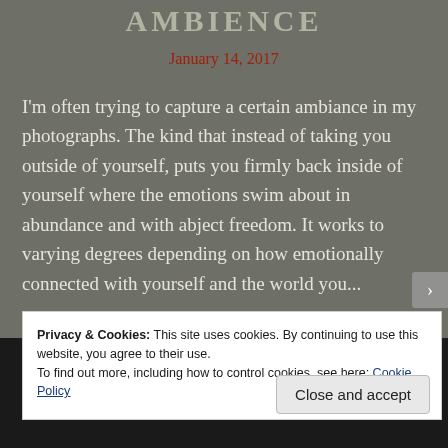AMBIENCE
January 14, 2017
I'm often trying to capture a certain ambiance in my photographs. The kind that instead of taking you outside of yourself, puts you firmly back inside of yourself where the emotions swim about in abundance and with abject freedom. It works to varying degrees depending on how emotionally connected with yourself and the world you...
Privacy & Cookies: This site uses cookies. By continuing to use this website, you agree to their use.
To find out more, including how to control cookies, see here: Cookie Policy
Close and accept